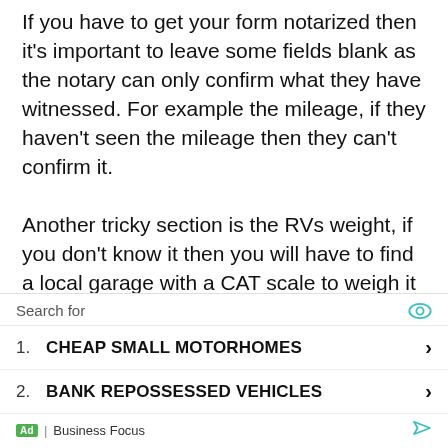If you have to get your form notarized then it's important to leave some fields blank as the notary can only confirm what they have witnessed. For example the mileage, if they haven't seen the mileage then they can't confirm it.

Another tricky section is the RVs weight, if you don't know it then you will have to find a local garage with a CAT scale to weigh it for you. There are also highway weighing stations that are designed to weigh trucks where you can
Search for
1. CHEAP SMALL MOTORHOMES ›
2. BANK REPOSSESSED VEHICLES ›
Ad | Business Focus